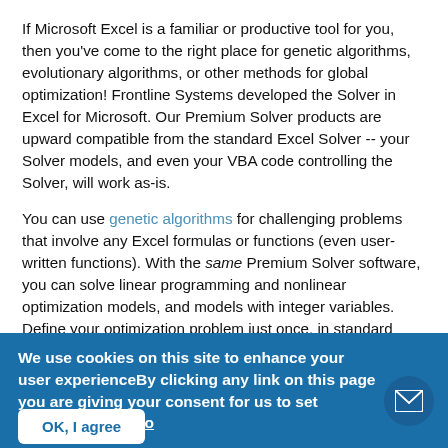If Microsoft Excel is a familiar or productive tool for you, then you've come to the right place for genetic algorithms, evolutionary algorithms, or other methods for global optimization!  Frontline Systems developed the Solver in Excel for Microsoft.  Our Premium Solver products are upward compatible from the standard Excel Solver -- your Solver models, and even your VBA code controlling the Solver, will work as-is.
You can use genetic algorithms for challenging problems that involve any Excel formulas or functions (even user-written functions).  With the same Premium Solver software, you can solve linear programming and nonlinear optimization models, and models with integer variables.  Define your optimization problem just once, in standard 'Excel Solver' form.  Then choose any of five built-in Solvers (including our Evolutionary Solver), or seven plug-in Solvers from a dropdown list, and click Solve.  That's all
We use cookies on this site to enhance your user experienceBy clicking any link on this page you are giving your consent for us to set cookies. More info
OK, I agree